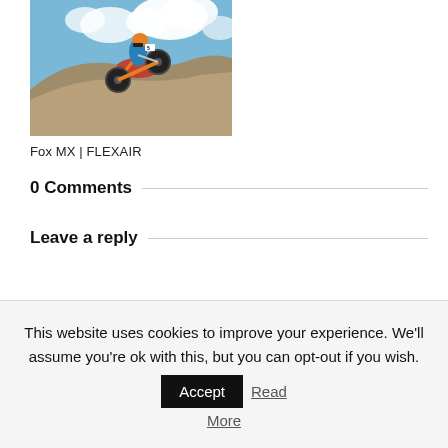[Figure (photo): A motocross rider on an orange dirt bike jumping over a dirt mound against a cloudy sky background]
Fox MX | FLEXAIR
0 Comments
Leave a reply
This website uses cookies to improve your experience. We'll assume you're ok with this, but you can opt-out if you wish. Accept Read More